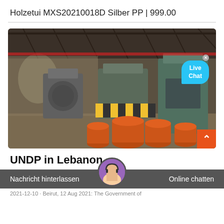Holzetui MXS20210018D Silber PP | 999.00
[Figure (photo): Interior of an industrial factory/warehouse with heavy machinery, metal parts, orange cylindrical molds in the foreground, and a Live Chat bubble overlay in the top right corner.]
UNDP in Lebanon
Nachricht hinterlassen    Online chatten
2021-12-10 · Beirut, 12 Aug 2021: The Government of